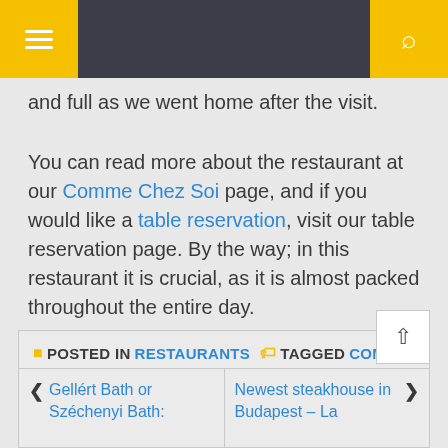Navigation bar with menu and search buttons
and full as we went home after the visit.
You can read more about the restaurant at our Comme Chez Soi page, and if you would like a table reservation, visit our table reservation page. By the way; in this restaurant it is crucial, as it is almost packed throughout the entire day.
POSTED IN RESTAURANTS  TAGGED COMME CHEZ SOI
Gellért Bath or Széchenyi Bath:
Newest steakhouse in Budapest – La